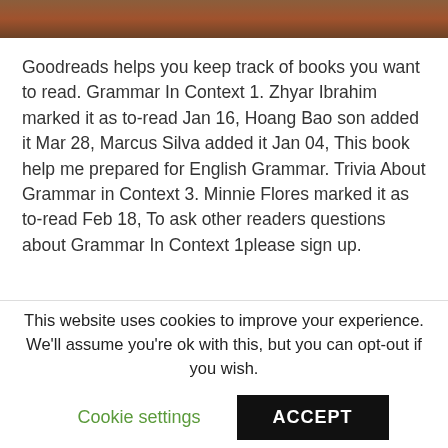[Figure (photo): Top strip showing a partial book cover image with orange-brown earthy tones]
Goodreads helps you keep track of books you want to read. Grammar In Context 1. Zhyar Ibrahim marked it as to-read Jan 16, Hoang Bao son added it Mar 28, Marcus Silva added it Jan 04, This book help me prepared for English Grammar. Trivia About Grammar in Context 3. Minnie Flores marked it as to-read Feb 18, To ask other readers questions about Grammar In Context 1please sign up.
CRYSTAL EXPORTTODISK PDF
This website uses cookies to improve your experience. We'll assume you're ok with this, but you can opt-out if you wish.
Cookie settings
ACCEPT